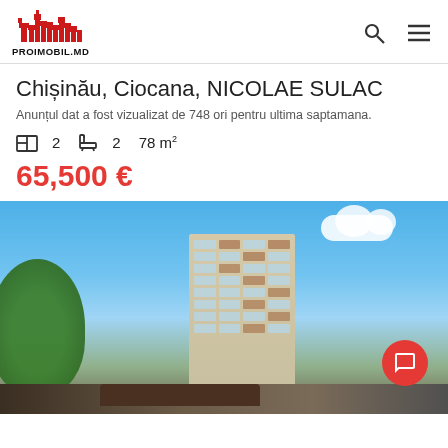PROIMOBIL.MD
Chișinău, Ciocana, NICOLAE SULAC
Anunțul dat a fost vizualizat de 748 ori pentru ultima saptamana.
2 rooms  2 bathrooms  78 m²
65,500 €
[Figure (photo): Exterior photo of a multi-story residential apartment building in Chișinău, taken from low angle showing the tall building against a blue sky with clouds, trees in the foreground and a dark vehicle at the bottom.]